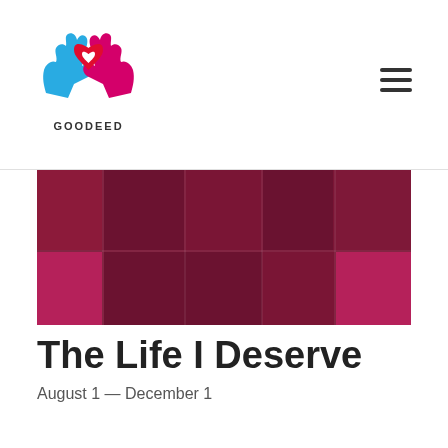[Figure (logo): Goodeed logo: two hands (blue and pink) cradling a red heart with a white heart cutout, above the text GOODEED]
[Figure (photo): Abstract mosaic/collage image with dark crimson and magenta rectangular blocks arranged in a grid pattern]
The Life I Deserve
August 1 — December 1